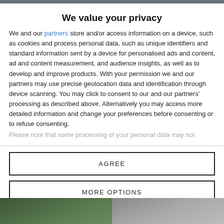We value your privacy
We and our partners store and/or access information on a device, such as cookies and process personal data, such as unique identifiers and standard information sent by a device for personalised ads and content, ad and content measurement, and audience insights, as well as to develop and improve products. With your permission we and our partners may use precise geolocation data and identification through device scanning. You may click to consent to our and our partners' processing as described above. Alternatively you may access more detailed information and change your preferences before consenting or to refuse consenting.
Please note that some processing of your personal data may not
AGREE
MORE OPTIONS
[Figure (photo): Photo strip at the bottom showing two images side by side — left appears to be a green outdoor/nature scene, right appears lighter/grey toned.]